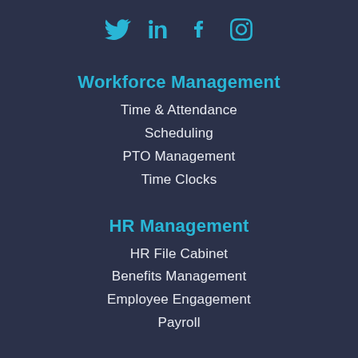[Figure (other): Social media icons: Twitter, LinkedIn, Facebook, Instagram in teal/cyan color]
Workforce Management
Time & Attendance
Scheduling
PTO Management
Time Clocks
HR Management
HR File Cabinet
Benefits Management
Employee Engagement
Payroll
Talent Management